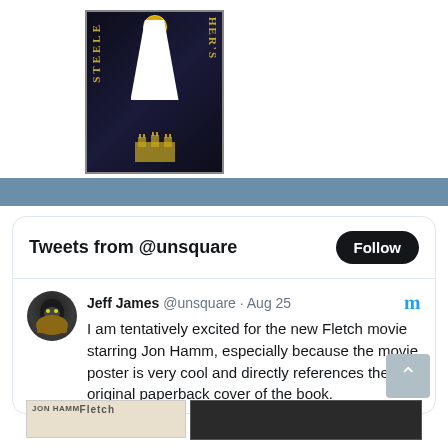[Figure (photo): Book cover showing a dark cover with gold text, a white shape in the center, gold medal at top, and a castle illustration at bottom]
[Figure (screenshot): Twitter/social media widget showing tweets from @unsquare with a Follow button. Tweet by Jeff James @unsquare Aug 25 with blue Twitter bird icon. Tweet text: I am tentatively excited for the new Fletch movie starring Jon Hamm, especially because the movie poster is very cool and directly references the original paperback cover of the book. Below the tweet are two small images (movie poster strip).]